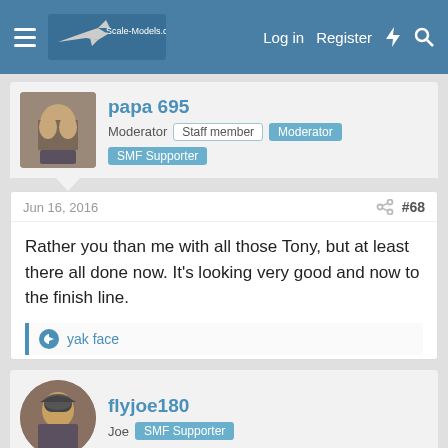Scale-Models.co.uk — Log in   Register
papa 695
Moderator   Staff member   Moderator   SMF Supporter
Jun 16, 2016   #68
Rather you than me with all those Tony, but at least there all done now. It's looking very good and now to the finish line.
yak face
flyjoe180
Joe   SMF Supporter
Jun 17, 2016   #69
Awesome work Tony, nearly there 😀